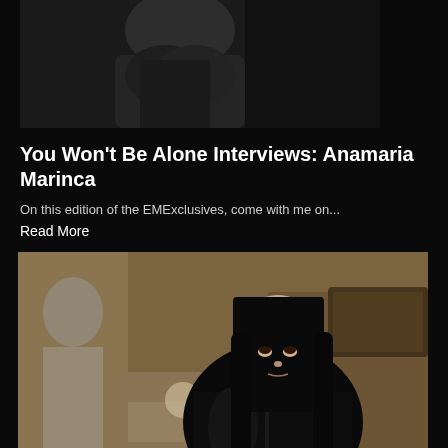[Figure (photo): Partial black and white photo of a person in dark clothing, cropped at top]
You Won't Be Alone Interviews: Anamaria Marinca
On this edition of the EMExclusives, come with me on...
Read More
[Figure (photo): Woman with straight black hair and bangs wearing a black leather jacket, holding a gun, seated in an office-like setting with blurred background]